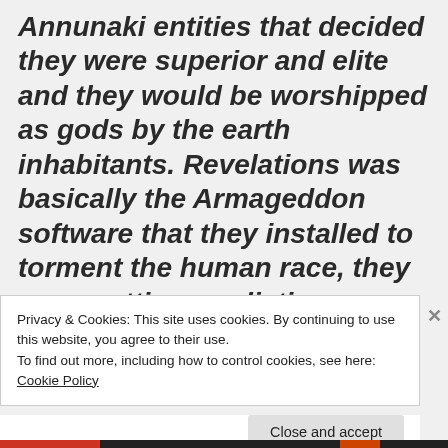Annunaki entities that decided they were superior and elite and they would be worshipped as gods by the earth inhabitants. Revelations was basically the Armageddon software that they installed to torment the human race, they were putting predictive programming in the [text continues]
Privacy & Cookies: This site uses cookies. By continuing to use this website, you agree to their use.
To find out more, including how to control cookies, see here: Cookie Policy